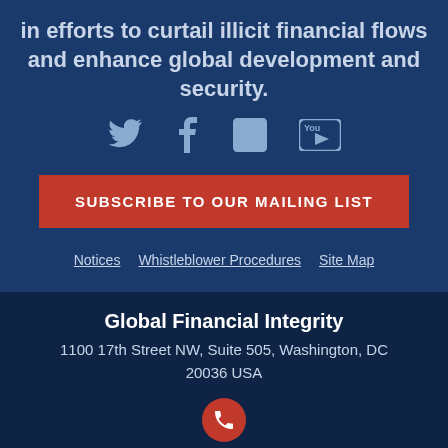in efforts to curtail illicit financial flows and enhance global development and security.
[Figure (other): Social media icons: Twitter, Facebook, LinkedIn, YouTube]
SUBSCRIBE TO OUR MAILING LIST
Notices   Whistleblower Procedures   Site Map
Global Financial Integrity
1100 17th Street NW, Suite 505, Washington, DC 20036 USA
[Figure (other): Phone icon in red circle]